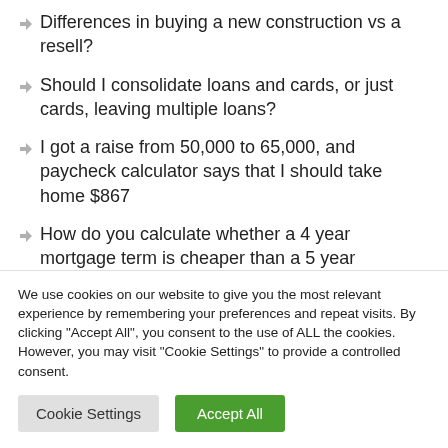Differences in buying a new construction vs a resell?
Should I consolidate loans and cards, or just cards, leaving multiple loans?
I got a raise from 50,000 to 65,000, and paycheck calculator says that I should take home $867
How do you calculate whether a 4 year mortgage term is cheaper than a 5 year
We use cookies on our website to give you the most relevant experience by remembering your preferences and repeat visits. By clicking "Accept All", you consent to the use of ALL the cookies. However, you may visit "Cookie Settings" to provide a controlled consent.